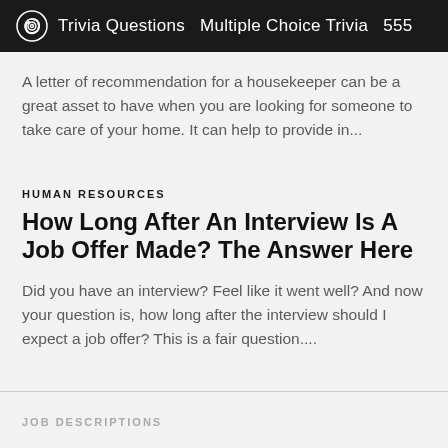Trivia Questions  Multiple Choice Trivia  555
A letter of recommendation for a housekeeper can be a great asset to have when you are looking for someone to take care of your home. It can help to provide in...
HUMAN RESOURCES
How Long After An Interview Is A Job Offer Made? The Answer Here
Did you have an interview? Feel like it went well? And now your question is, how long after the interview should I expect a job offer? This is a fair question....
JOB DESCRIPTIONS